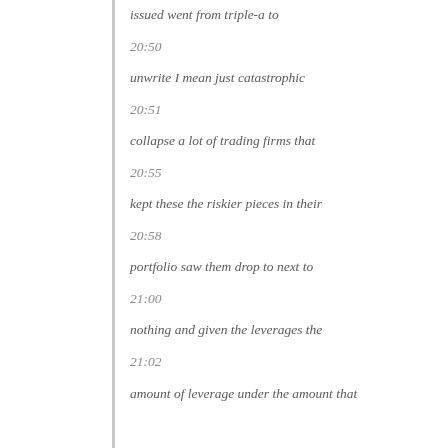issued went from triple-a to
20:50
unwrite I mean just catastrophic
20:51
collapse a lot of trading firms that
20:55
kept these the riskier pieces in their
20:58
portfolio saw them drop to next to
21:00
nothing and given the leverages the
21:02
amount of leverage under the amount that